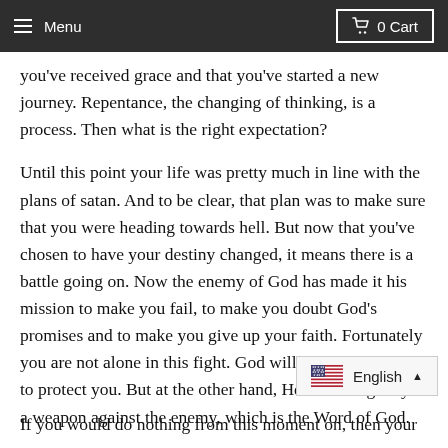Menu  0 Cart
you've received grace and that you've started a new journey. Repentance, the changing of thinking, is a process. Then what is the right expectation?
Until this point your life was pretty much in line with the plans of satan. And to be clear, that plan was to make sure that you were heading towards hell. But now that you've chosen to have your destiny changed, it means there is a battle going on. Now the enemy of God has made it his mission to make you fail, to make you doubt God's promises and to make you give up your faith. Fortunately you are not alone in this fight. God will send His angels to protect you. But at the other hand, He has also give you a weapon against the enemy, which is the Word of God.
If you would do nothing from this moment on, then your